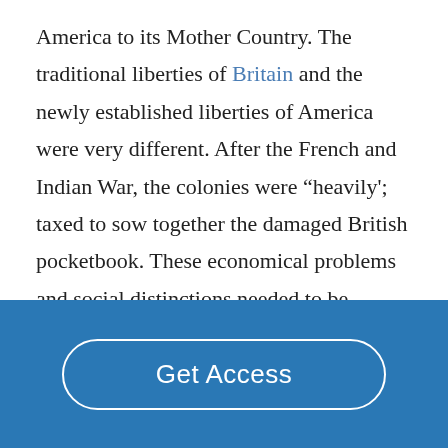America to its Mother Country. The traditional liberties of Britain and the newly established liberties of America were very different. After the French and Indian War, the colonies were “heavily'; taxed to sow together the damaged British pocketbook. These economical problems and social distinctions needed to be mended simultaneously or the war could not be avoided.
Get Access